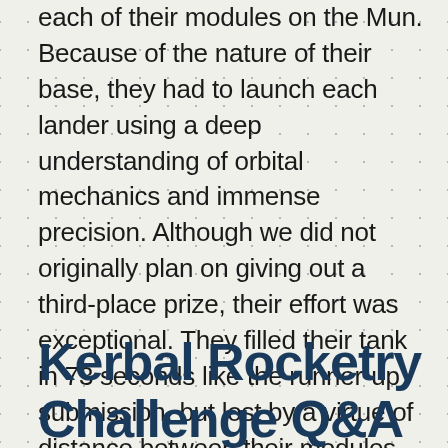each of their modules on the Mun. Because of the nature of their base, they had to launch each lander using a deep understanding of orbital mechanics and immense precision. Although we did not originally plan on giving out a third-place prize, their effort was exceptional. They filled their tank in 73 seconds like the runner-up submission, but lost by a virtue of distance between their modules on the Mun. Also of note, this base has 8 additional slots for kerbalnauts, for a total of 16 slots.
Kerbal Rocketry Challenge Q&A